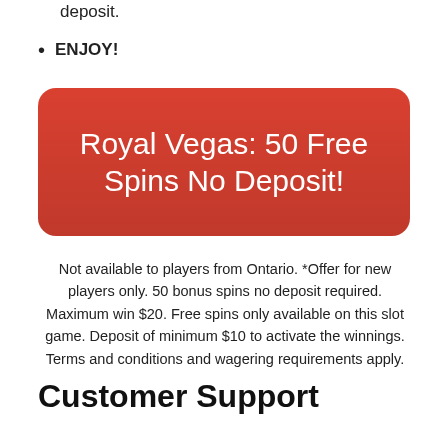deposit.
ENJOY!
[Figure (other): Red rounded rectangle banner with white text reading 'Royal Vegas: 50 Free Spins No Deposit!']
Not available to players from Ontario. *Offer for new players only. 50 bonus spins no deposit required. Maximum win $20. Free spins only available on this slot game. Deposit of minimum $10 to activate the winnings. Terms and conditions and wagering requirements apply.
Customer Support